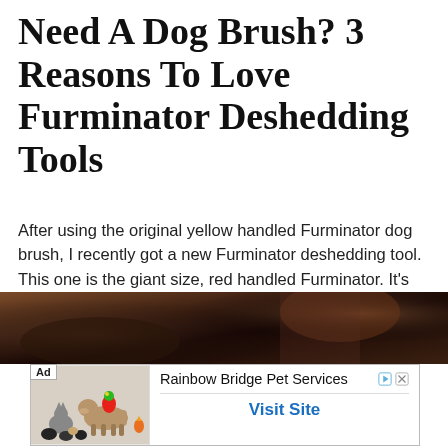Need A Dog Brush? 3 Reasons To Love Furminator Deshedding Tools
After using the original yellow handled Furminator dog brush, I recently got a new Furminator deshedding tool. This one is the giant size, red handled Furminator. It's larger, more ergonomic, and it has a FURejector button to easily remove the pet hair that's been collected in the teeth of the brush itself.
[Figure (photo): Dark photograph showing what appears to be a pet scene with dark brownish tones, possibly a dog resting on a surface]
[Figure (screenshot): Advertisement for Rainbow Bridge Pet Services showing animals (dog, cat, parrot) on the left, with 'Ad' label, service name, navigation arrows, and 'Visit Site' link in blue]